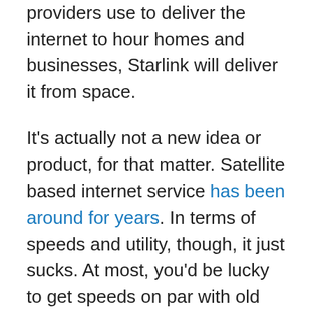providers use to deliver the internet to hour homes and businesses, Starlink will deliver it from space.
It's actually not a new idea or product, for that matter. Satellite based internet service has been around for years. In terms of speeds and utility, though, it just sucks. At most, you'd be lucky to get speeds on par with old school 3G wireless. For some people, that's better than nothing. For most, it's not nearly enough to maximize the full power of the internet.
Starlink is hoping to change that. Instead of expensive satellites with high latency and limited bandwidth, these new brand of low-Earth satellites promise to deliver on speeds at or greater than the best 4G internet providers.
On top of that, you don't need the same elaborate infrastructure and or cell towers to deliver it. You just need